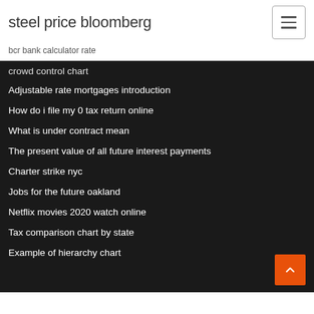steel price bloomberg
bcr bank calculator rate
crowd control chart
Adjustable rate mortgages introduction
How do i file my 0 tax return online
What is under contract mean
The present value of all future interest payments
Charter strike nyc
Jobs for the future oakland
Netflix movies 2020 watch online
Tax comparison chart by state
Example of hierarchy chart